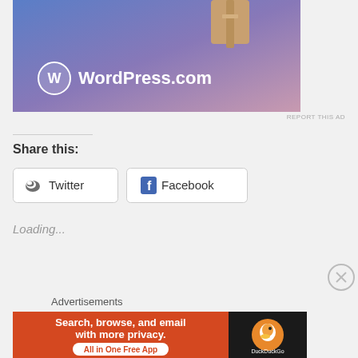[Figure (screenshot): WordPress.com advertisement banner with blue-purple gradient background, WordPress logo (circle with W) and text 'WordPress.com', partial wooden USB drive image at top]
REPORT THIS AD
Share this:
[Figure (screenshot): Twitter share button with Twitter bird icon]
[Figure (screenshot): Facebook share button with Facebook logo]
Loading...
Advertisements
[Figure (screenshot): DuckDuckGo advertisement: orange background with text 'Search, browse, and email with more privacy. All in One Free App' and DuckDuckGo duck logo on black background]
REPORT THIS AD